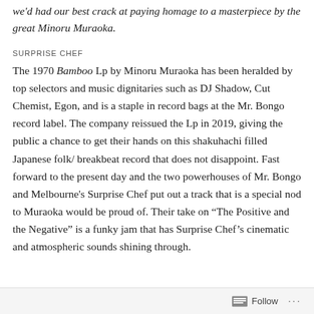we'd had our best crack at paying homage to a masterpiece by the great Minoru Muraoka.
SURPRISE CHEF
The 1970 Bamboo Lp by Minoru Muraoka has been heralded by top selectors and music dignitaries such as DJ Shadow, Cut Chemist, Egon, and is a staple in record bags at the Mr. Bongo record label. The company reissued the Lp in 2019, giving the public a chance to get their hands on this shakuhachi filled Japanese folk/ breakbeat record that does not disappoint. Fast forward to the present day and the two powerhouses of Mr. Bongo and Melbourne's Surprise Chef put out a track that is a special nod to Muraoka would be proud of. Their take on “The Positive and the Negative” is a funky jam that has Surprise Chef's cinematic and atmospheric sounds shining through.
Follow ...